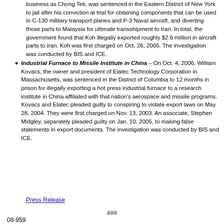business as Chong Tek, was sentenced in the Eastern District of New York to jail after his conviction at trial for obtaining components that can be used in C-130 military transport planes and P-3 Naval aircraft, and diverting those parts to Malaysia for ultimate transshipment to Iran. In total, the government found that Koh illegally exported roughly $2.6 million in aircraft parts to Iran. Koh was first charged on Oct. 26, 2005. The investigation was conducted by BIS and ICE.
Industrial Furnace to Missile Institute in China – On Oct. 4, 2006, William Kovacs, the owner and president of Elatec Technology Corporation in Massachusetts, was sentenced in the District of Columbia to 12 months in prison for illegally exporting a hot press industrial furnace to a research institute in China affiliated with that nation's aerospace and missile programs. Kovacs and Elatec pleaded guilty to conspiring to violate export laws on May 28, 2004. They were first charged on Nov. 13, 2003. An associate, Stephen Midgley, separately pleaded guilty on Jan. 10, 2005, to making false statements in export documents. The investigation was conducted by BIS and ICE.
Press Release
###
08-959